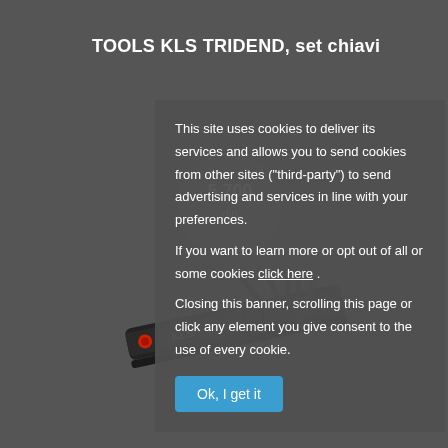TOOLS KLS TRIDEND, set chiavi
[Figure (photo): KLS TRIDEND multi-tool set with hex keys, dark metallic finish, shown on grey background with KLS branding and red accent.]
This site uses cookies to deliver its services and allows you to send cookies from other sites ("third-party") to send advertising and services in line with your preferences.
If you want to learn more or opt out of all or some cookies click here .
Closing this banner, scrolling this page or click any element you give consent to the use of every cookie.
Ok, I get it